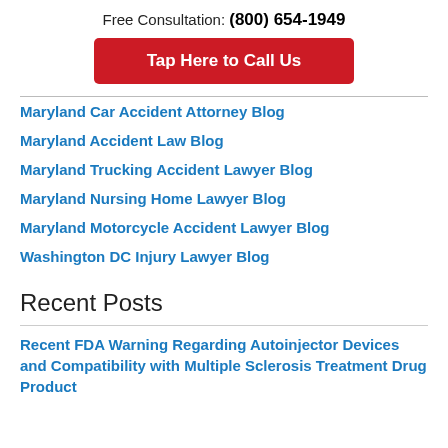Free Consultation: (800) 654-1949
Tap Here to Call Us
Maryland Car Accident Attorney Blog
Maryland Accident Law Blog
Maryland Trucking Accident Lawyer Blog
Maryland Nursing Home Lawyer Blog
Maryland Motorcycle Accident Lawyer Blog
Washington DC Injury Lawyer Blog
Recent Posts
Recent FDA Warning Regarding Autoinjector Devices and Compatibility with Multiple Sclerosis Treatment Drug Product